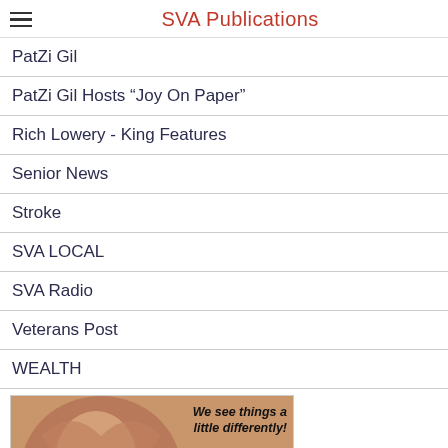SVA Publications
PatZi Gil
PatZi Gil Hosts “Joy On Paper”
Rich Lowery - King Features
Senior News
Stroke
SVA LOCAL
SVA Radio
Veterans Post
WEALTH
[Figure (photo): Advertisement for CARES Adult Day Care showing a woman making a heart shape with her hands. Text reads 'We see things a little differently!' with CARES logo and www.CARESFL.org. Bottom text: 'OUR COMPASSIONATE ADULT DAY SERVICES INCLUDE:']